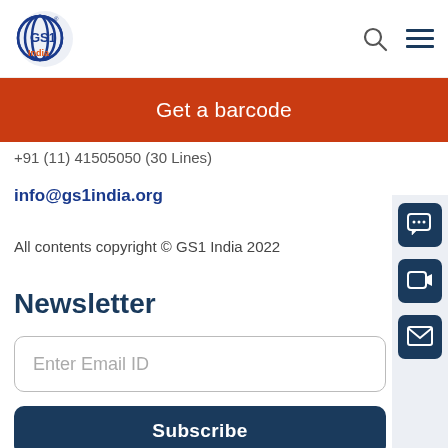[Figure (logo): GS1 India logo with circular globe icon and 'India' text in orange]
Get a barcode
+91 (11) 41505050 (30 Lines)
info@gs1india.org
All contents copyright © GS1 India 2022
Newsletter
Enter Email ID
Subscribe